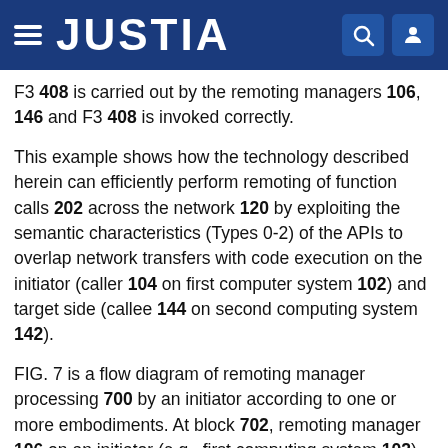JUSTIA
F3 408 is carried out by the remoting managers 106, 146 and F3 408 is invoked correctly.
This example shows how the technology described herein can efficiently perform remoting of function calls 202 across the network 120 by exploiting the semantic characteristics (Types 0-2) of the APIs to overlap network transfers with code execution on the initiator (caller 104 on first computer system 102) and target side (callee 144 on second computing system 142).
FIG. 7 is a flow diagram of remoting manager processing 700 by an initiator according to one or more embodiments. At block 702, remoting manager 106 on an initiator (e.g., first computing system 102) receives a function call from caller 104. At block 704, remoting manager 106 determines the type of the function call. At block 706...